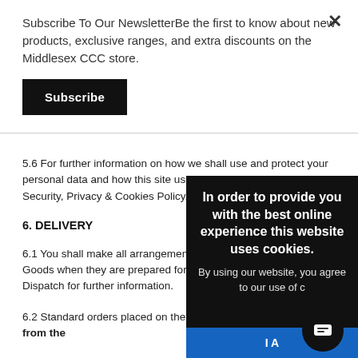Subscribe To Our NewsletterBe the first to know about new products, exclusive ranges, and extra discounts on the Middlesex CCC store.
Subscribe
5.6 For further information on how we shall use and protect your personal data and how this site uses Cookies please see our Security, Privacy & Cookies Policy.
6. DELIVERY
6.1 You shall make all arrangements to take delivery of the Goods when they are prepared for dispatch, please refer to our Dispatch for further information.
In order to provide you with the best online experience this website uses cookies.
By using our website, you agree to our use of c
6.2 Standard orders placed on the Store will take up to 3 weeks from the